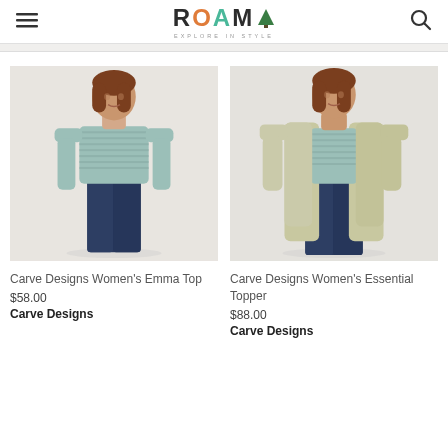ROAM — EXPLORE IN STYLE — navigation header with hamburger menu and search icon
[Figure (photo): Woman wearing a light blue striped long-sleeve henley top with dark jeans, standing against a light grey background. Product: Carve Designs Women's Emma Top.]
[Figure (photo): Woman wearing a light sage/beige open cardigan topper over a light blue striped henley with dark jeans, standing against a light grey background. Product: Carve Designs Women's Essential Topper.]
Carve Designs Women's Emma Top
$58.00
Carve Designs
Carve Designs Women's Essential Topper
$88.00
Carve Designs